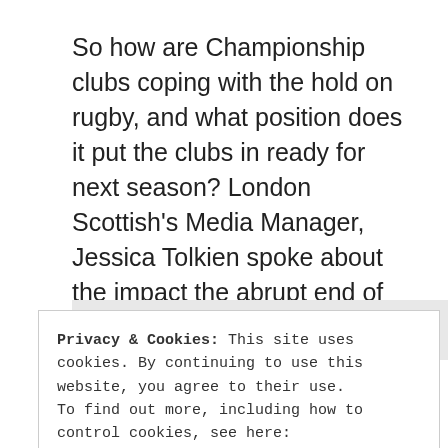So how are Championship clubs coping with the hold on rugby, and what position does it put the clubs in ready for next season? London Scottish's Media Manager, Jessica Tolkien spoke about the impact the abrupt end of the season has had on the London club.
Privacy & Cookies: This site uses cookies. By continuing to use this website, you agree to their use.
To find out more, including how to control cookies, see here:
Cookie Policy
Close and accept
“We haven’t won at home this year; our